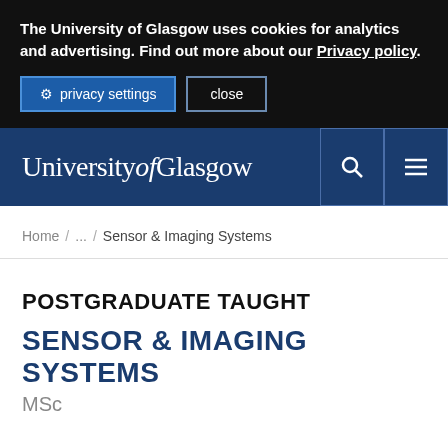The University of Glasgow uses cookies for analytics and advertising. Find out more about our Privacy policy.
privacy settings   close
University of Glasgow
Home / ... / Sensor & Imaging Systems
POSTGRADUATE TAUGHT
SENSOR & IMAGING SYSTEMS
MSc